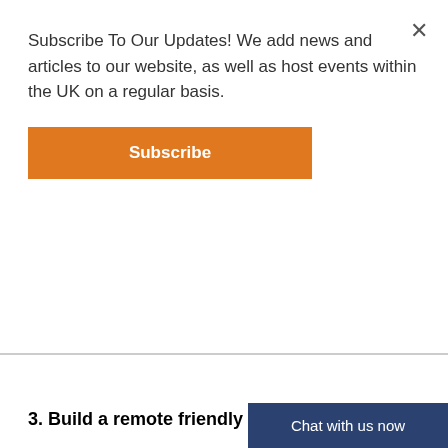Subscribe To Our Updates! We add news and articles to our website, as well as host events within the UK on a regular basis.
Subscribe
3. Build a remote friendly culture.
As a manager, you should try to enable your team to collaborate together and get to know each other. Perhaps you can dedicate a portion of your weekly team meeting to highlight a success story, like Matt does. That individual can then discuss the win (big deal closed, new opportunity created, great in person meeting or presentation, etc).
Additionally, you can also run weekly happy hours online. These meetings will have no ag